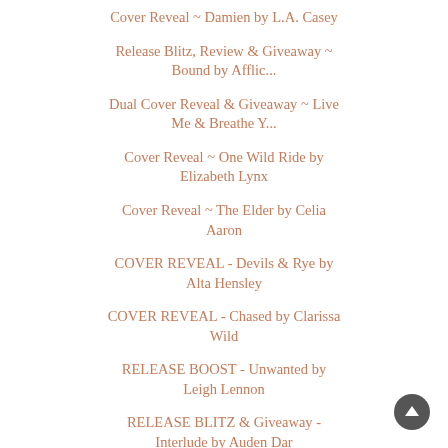Cover Reveal ~ Damien by L.A. Casey
Release Blitz, Review & Giveaway ~ Bound by Afflic...
Dual Cover Reveal & Giveaway ~ Live Me & Breathe Y...
Cover Reveal ~ One Wild Ride by Elizabeth Lynx
Cover Reveal ~ The Elder by Celia Aaron
COVER REVEAL - Devils & Rye by Alta Hensley
COVER REVEAL - Chased by Clarissa Wild
RELEASE BOOST - Unwanted by Leigh Lennon
RELEASE BLITZ & Giveaway - Interlude by Auden Dar
Release Blitz & Giveaway ~ The Prince's Playbook b...
Cover Reveal & Giveaway ~ Proper Ink by Zeia Jameson